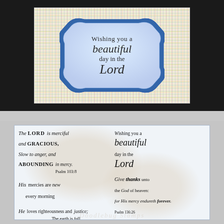[Figure (photo): Greeting card with plaid background and an ornate badge-shaped label reading 'Wishing you a beautiful day in the Lord', photographed against a dark background.]
[Figure (photo): Rubber stamp sheet showing multiple religious sentiment stamps: 'The Lord is merciful and gracious, slow to anger, and abounding in mercy. Psalm 103:8', 'Wishing you a beautiful day in the Lord', 'His mercies are new every morning', 'Give thanks unto the God of heaven: for His mercy endureth forever. Psalm 136:26', 'He loves righteousness and justice; The earth is full of the goodness of the LORD. Psalm 33:5'. Includes watermark and 'FILES ARE NOT FOR SHARING!' notice.]